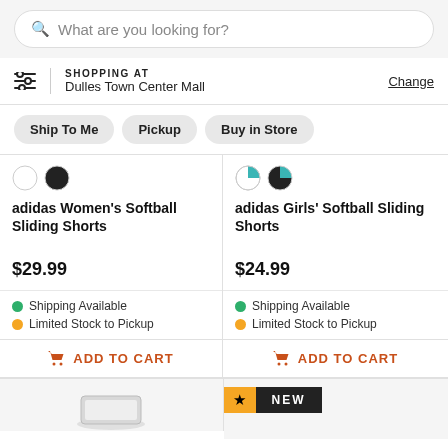What are you looking for?
SHOPPING AT
Dulles Town Center Mall
Change
Ship To Me
Pickup
Buy in Store
adidas Women's Softball Sliding Shorts
$29.99
Shipping Available
Limited Stock to Pickup
ADD TO CART
adidas Girls' Softball Sliding Shorts
$24.99
Shipping Available
Limited Stock to Pickup
ADD TO CART
NEW